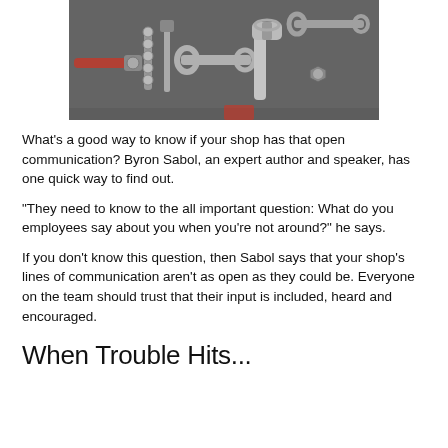[Figure (photo): Tools laid out on a dark surface: ratchet, sockets, screwdriver bits, wrenches, and a crescent wrench.]
What's a good way to know if your shop has that open communication? Byron Sabol, an expert author and speaker, has one quick way to find out.
“They need to know to the all important question: What do you employees say about you when you’re not around?” he says.
If you don't know this question, then Sabol says that your shop's lines of communication aren't as open as they could be. Everyone on the team should trust that their input is included, heard and encouraged.
When Trouble Hits...